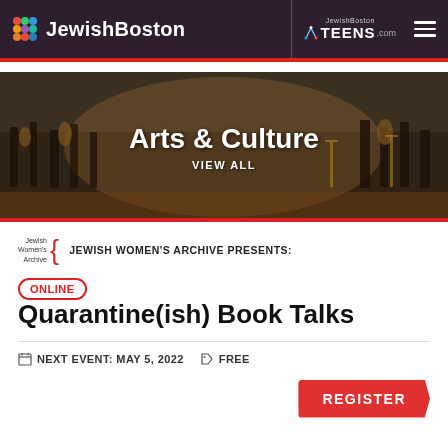JewishBoston | JewishBoston TEENS.com
[Figure (screenshot): Arts & Culture banner with orchestra photo, title 'Arts & Culture' and 'VIEW ALL' link]
JEWISH WOMEN'S ARCHIVE PRESENTS:
Quarantine(ish) Book Talks
NEXT EVENT: MAY 5, 2022   FREE
REGISTER